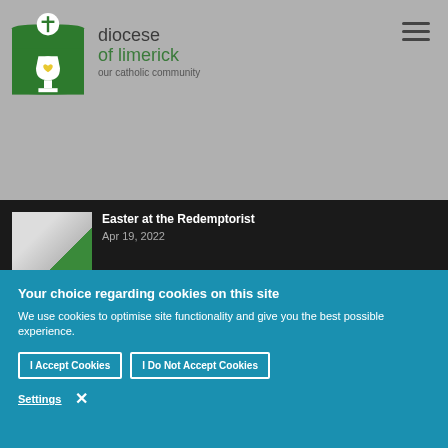[Figure (logo): Diocese of Limerick logo: green arch with chalice and hands]
diocese of limerick our catholic community
Easter at the Redemptorist
Apr 19, 2022
Your choice regarding cookies on this site
We use cookies to optimise site functionality and give you the best possible experience.
I Accept Cookies
I Do Not Accept Cookies
Settings